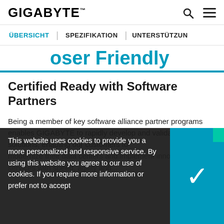GIGABYTE
User Friendly
Certified Ready with Software Partners
Being a member of key software alliance partner programs enables GIGABYTE to rapidly develop and validate joint solutions, enabling our customers to modernize their data centers and implement innovative IT services with speed, agility and...
This website uses cookies to provide you a more personalized and responsive service. By using this website you agree to our use of cookies. If you require more information or prefer not to accept